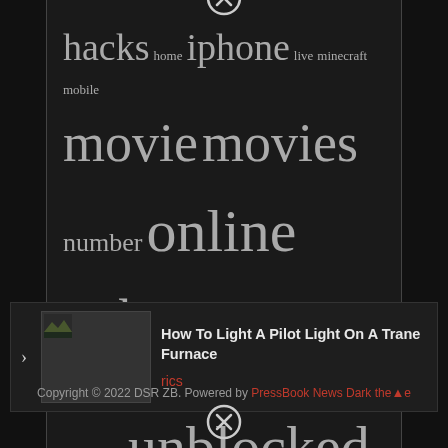[Figure (screenshot): Tag cloud popup overlay with dark background showing words in varying sizes: hacks home iphone live minecraft mobile movie movies number online papa phone pokemon roblox script sites start stream unblocked watch what with without your]
How To Light A Pilot Light On A Trane Furnace
rics
Copyright © 2022 DSR ZB. Powered by PressBook News Dark theme